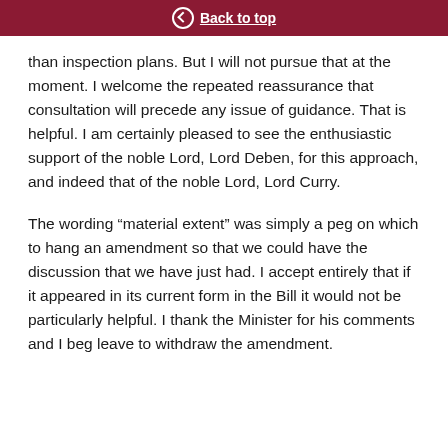Back to top
than inspection plans. But I will not pursue that at the moment. I welcome the repeated reassurance that consultation will precede any issue of guidance. That is helpful. I am certainly pleased to see the enthusiastic support of the noble Lord, Lord Deben, for this approach, and indeed that of the noble Lord, Lord Curry.
The wording “material extent” was simply a peg on which to hang an amendment so that we could have the discussion that we have just had. I accept entirely that if it appeared in its current form in the Bill it would not be particularly helpful. I thank the Minister for his comments and I beg leave to withdraw the amendment.